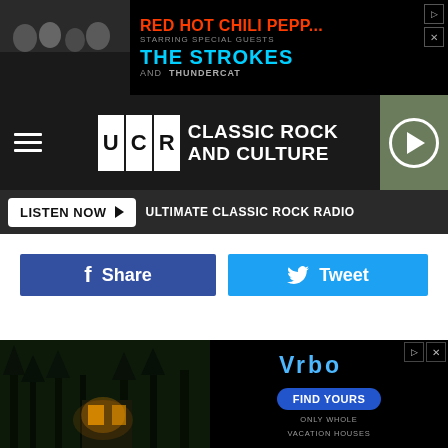[Figure (photo): Advertisement banner for Red Hot Chili Peppers, The Strokes and Thundercat concert/event with black background and band photos]
[Figure (logo): UCR Ultimate Classic Rock and Culture logo with navigation bar and play button]
LISTEN NOW   ULTIMATE CLASSIC ROCK RADIO
Share
Tweet
Subscribe to Ultimate Classic Rock on
After s... ke a
[Figure (photo): Advertisement overlay at bottom: dark forest/house photo on left, VRBO vacation rentals ad on right with Find Yours button]